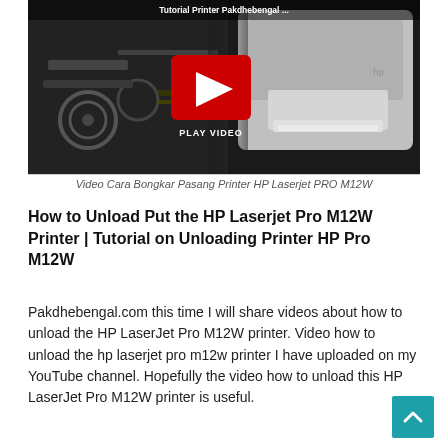[Figure (screenshot): YouTube video thumbnail showing printer disassembly/reassembly tutorial with a red play button overlay labeled 'PLAY VIDEO'. Text at top reads 'Tutorial Printer Pakdhebengal'. Image shows printer internals on the left and an HP printer on the right.]
Video Cara Bongkar Pasang Printer HP Laserjet PRO M12W
How to Unload Put the HP Laserjet Pro M12W Printer | Tutorial on Unloading Printer HP Pro M12W
Pakdhebengal.com this time I will share videos about how to unload the HP LaserJet Pro M12W printer. Video how to unload the hp laserjet pro m12w printer I have uploaded on my YouTube channel. Hopefully the video how to unload this HP LaserJet Pro M12W printer is useful.